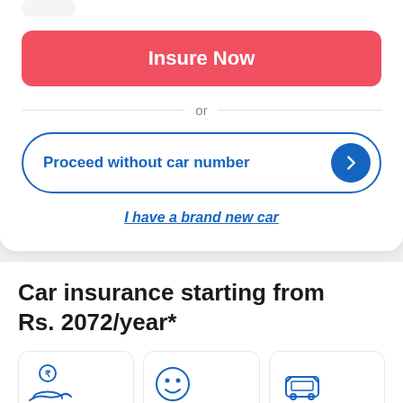Insure Now
or
Proceed without car number
I have a brand new car
Car insurance starting from Rs. 2072/year*
Save upto 75%*
Lowest Car
11.5 Lakh+
Happy Customers
Claim Support
7 days a week